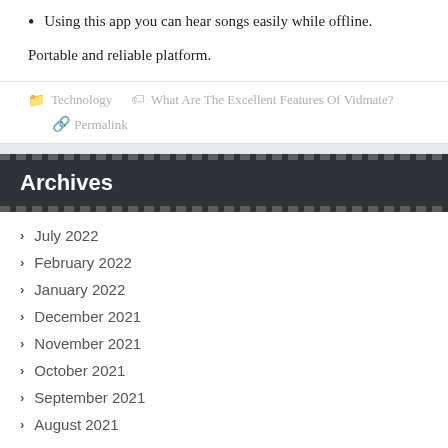Using this app you can hear songs easily while offline.
Portable and reliable platform.
Technology   What Are The Excellent Features Of Vidmate?   Permalink
Archives
July 2022
February 2022
January 2022
December 2021
November 2021
October 2021
September 2021
August 2021